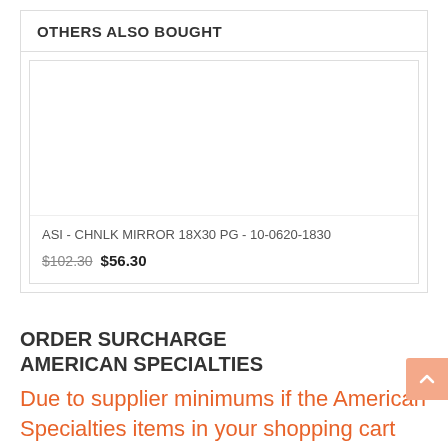OTHERS ALSO BOUGHT
[Figure (photo): Product image placeholder for ASI CHNLK Mirror 18x30 PG]
ASI - CHNLK MIRROR 18X30 PG - 10-0620-1830
$102.30 $56.30
ORDER SURCHARGE
AMERICAN SPECIALTIES
Due to supplier minimums if the American Specialties items in your shopping cart total less than $38.50 dollars an automated $10 surcharge